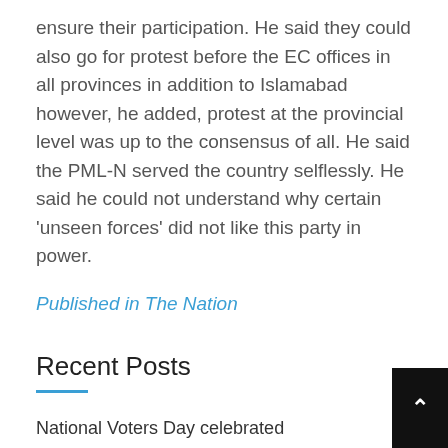ensure their participation. He said they could also go for protest before the EC offices in all provinces in addition to Islamabad however, he added, protest at the provincial level was up to the consensus of all. He said the PML-N served the country selflessly. He said he could not understand why certain 'unseen forces' did not like this party in power.
Published in The Nation
Recent Posts
National Voters Day celebrated
ECP member from Punjab made acting chief commissioner